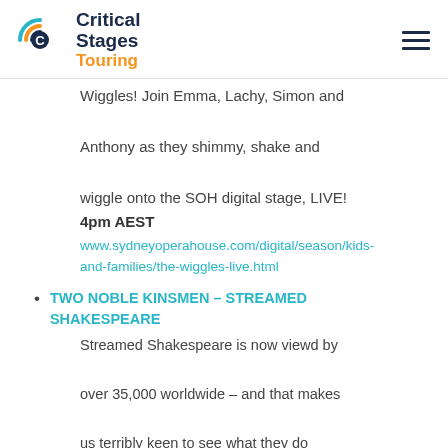Critical Stages Touring [logo]
Wiggles! Join Emma, Lachy, Simon and Anthony as they shimmy, shake and wiggle onto the SOH digital stage, LIVE!
4pm AEST
www.sydneyoperahouse.com/digital/season/kids-and-families/the-wiggles-live.html
TWO NOBLE KINSMEN – STREAMED SHAKESPEARE
Streamed Shakespeare is now viewd by over 35,000 worldwide – and that makes us terribly keen to see what they do